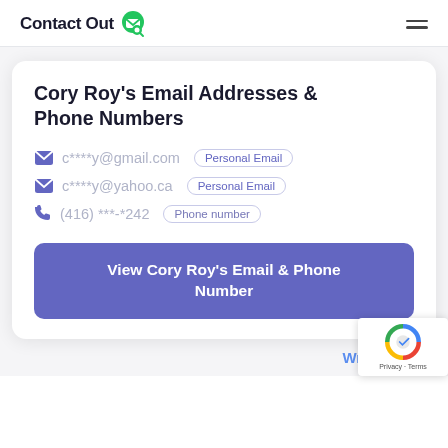ContactOut
Cory Roy's Email Addresses & Phone Numbers
c****y@gmail.com — Personal Email
c****y@yahoo.ca — Personal Email
(416) ***-*242 — Phone number
View Cory Roy's Email & Phone Number
Wrong Cory